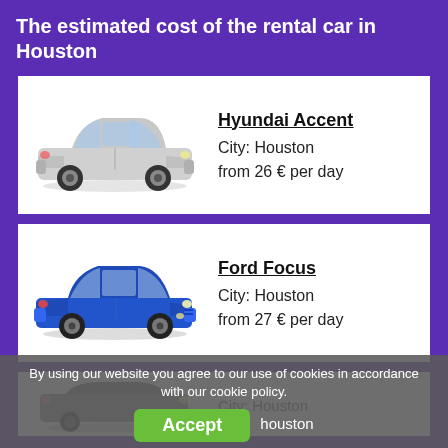The estimated cost of the rental car in Houston
[Figure (infographic): Car listing card: Silver Hyundai Accent with city Houston, from 26 € per day]
[Figure (infographic): Car listing card: Blue Ford Focus with city Houston, from 27 € per day]
[Figure (photo): Partial third car card showing a grey/silver sedan, partially visible at bottom]
By using our website you agree to our use of cookies in accordance with our cookie policy.
Accept